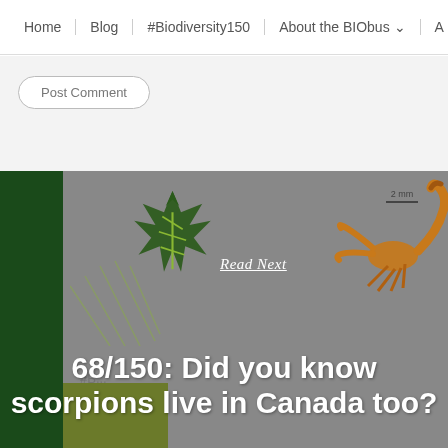Home | Blog | #Biodiversity150 | About the BIObus | A
Post Comment
[Figure (screenshot): Blog card with green BIObus logo, a scorpion photograph on grey background, 'Read Next' label, and headline '68/150: Did you know scorpions live in Canada too?']